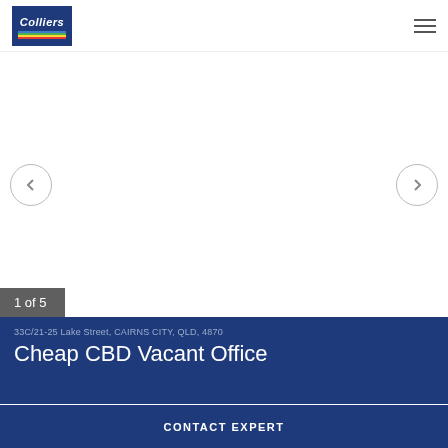[Figure (logo): Colliers International logo — dark blue background with white italic text 'Colliers' and horizontal color stripes (green, yellow, red)]
FOR LEASE
[Figure (photo): Property photo carousel area — blank/white image with left and right navigation arrows; counter badge showing '1 of 5']
1 of 5
33C/21-25 Lake Street, CAIRNS CITY, QLD, 4870
Cheap CBD Vacant Office
CONTACT EXPERT